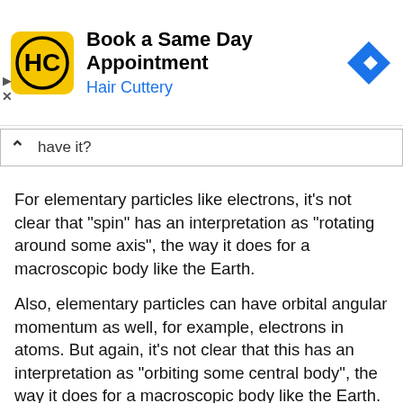[Figure (screenshot): Hair Cuttery advertisement banner with yellow logo featuring 'HC', title 'Book a Same Day Appointment', subtitle 'Hair Cuttery' in blue, and a blue diamond navigation arrow on the right]
have it?
For elementary particles like electrons, it's not clear that "spin" has an interpretation as "rotating around some axis", the way it does for a macroscopic body like the Earth.
Also, elementary particles can have orbital angular momentum as well, for example, electrons in atoms. But again, it's not clear that this has an interpretation as "orbiting some central body", the way it does for a macroscopic body like the Earth.